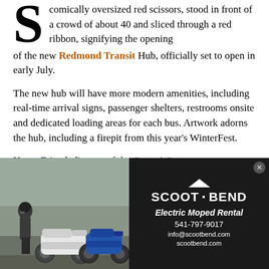comically oversized red scissors, stood in front of a crowd of about 40 and sliced through a red ribbon, signifying the opening of the new Redmond Transit Hub, officially set to open in early July.
The new hub will have more modern amenities, including real-time arrival signs, passenger shelters, restrooms onsite and dedicated loading areas for each bus. Artwork adorns the hub, including a firepit from this year's WinterFest.
Karen Friend, director of the Central Oregon Intergovernmental Council, which runs Cascade East Transit, said the new hub will allow buses to come and go individually, unlike Bend's Hawthorne Station, where buses can stack up because it's on a public street.
[Figure (photo): Advertisement for Scoot Bend Electric Moped Rental showing two mopeds and a person on the left half (photo), and on the right half a black background with the Scoot Bend logo, 'Electric Moped Rental', phone number 541-797-9017, info@scootbend.com, scootbend.com]